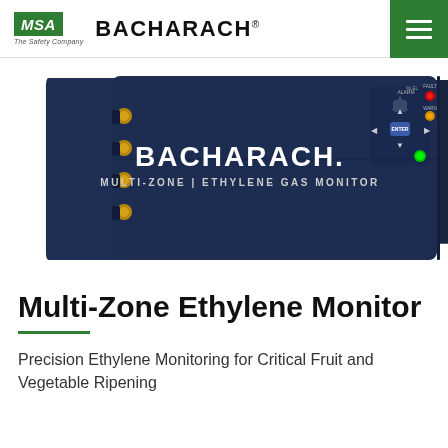MSA | BACHARACH | The Safety Company
[Figure (photo): Bacharach Multi-Zone Ethylene Gas Monitor device — a dark navy blue rectangular unit with gold/copper fittings on the left side, a diamond-shaped control pad with directional arrow buttons, illuminated LED indicators (green, red, amber), and 'BACHARACH. MULTI-ZONE | ETHYLENE GAS MONITOR' text on the front panel.]
Multi-Zone Ethylene Monitor
Precision Ethylene Monitoring for Critical Fruit and Vegetable Ripening